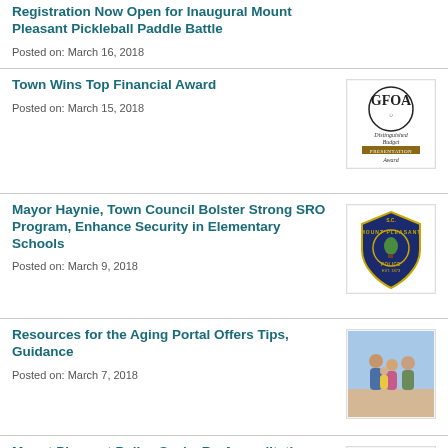Registration Now Open for Inaugural Mount Pleasant Pickleball Paddle Battle
Posted on: March 16, 2018
Town Wins Top Financial Award
Posted on: March 15, 2018
[Figure (logo): GFOA Distinguished Budget Presentation Award logo]
Mayor Haynie, Town Council Bolster Strong SRO Program, Enhance Security in Elementary Schools
Posted on: March 9, 2018
[Figure (logo): Mount Pleasant Police badge/shield logo]
Resources for the Aging Portal Offers Tips, Guidance
Posted on: March 7, 2018
[Figure (photo): Family of older adults smiling outdoors]
Mount Pleasant Police Seeks Re-Accreditation
Posted on: March 2, 2018
[Figure (logo): CALEA accreditation seal - gold eagle on blue background]